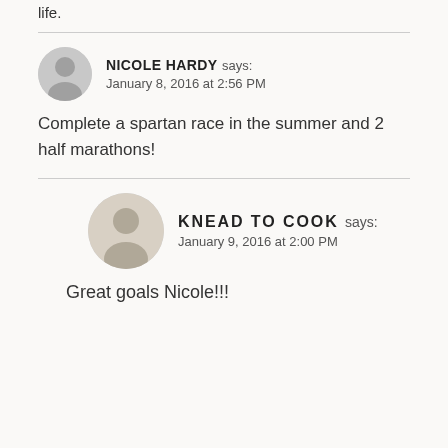life.
NICOLE HARDY says:
January 8, 2016 at 2:56 PM
Complete a spartan race in the summer and 2 half marathons!
KNEAD TO COOK says:
January 9, 2016 at 2:00 PM
Great goals Nicole!!!